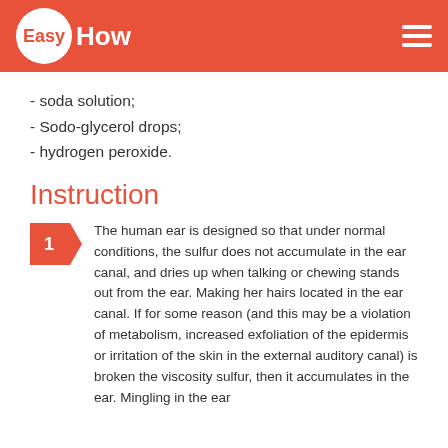EasyHow
- soda solution;
- Sodo-glycerol drops;
- hydrogen peroxide.
Instruction
The human ear is designed so that under normal conditions, the sulfur does not accumulate in the ear canal, and dries up when talking or chewing stands out from the ear. Making her hairs located in the ear canal. If for some reason (and this may be a violation of metabolism, increased exfoliation of the epidermis or irritation of the skin in the external auditory canal) is broken the viscosity sulfur, then it accumulates in the ear. Mingling in the ear